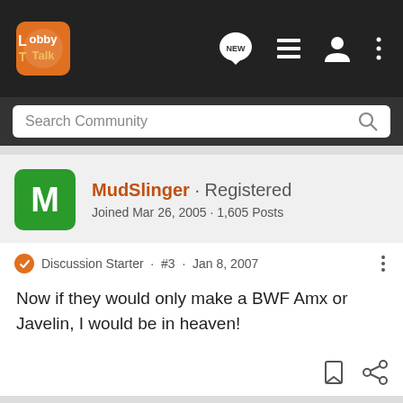LobbyTalk - Search Community
MudSlinger · Registered
Joined Mar 26, 2005 · 1,605 Posts
Discussion Starter · #3 · Jan 8, 2007
Now if they would only make a BWF Amx or Javelin, I would be in heaven!